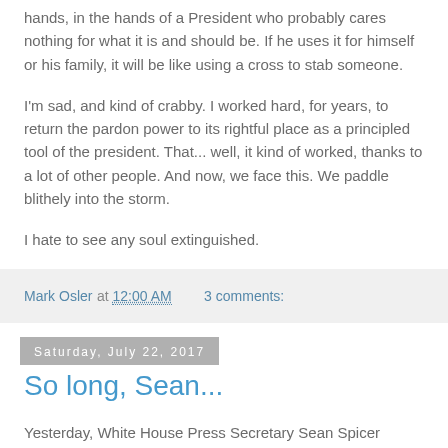hands, in the hands of a President who probably cares nothing for what it is and should be. If he uses it for himself or his family, it will be like using a cross to stab someone.
I'm sad, and kind of crabby. I worked hard, for years, to return the pardon power to its rightful place as a principled tool of the president. That... well, it kind of worked, thanks to a lot of other people. And now, we face this. We paddle blithely into the storm.
I hate to see any soul extinguished.
Mark Osler at 12:00 AM   3 comments:
Saturday, July 22, 2017
So long, Sean...
Yesterday, White House Press Secretary Sean Spicer resigned. Sarah Huckabee Sanders is taking his place. Which means we may not get more of this: